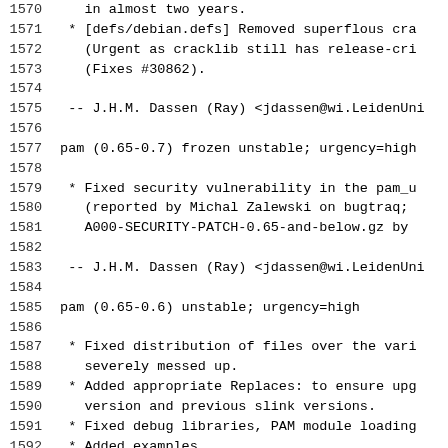Changelog excerpt for pam package, lines 1570-1599
1570: in almost two years.
1571:  * [defs/debian.defs] Removed superflous cra
1572:    (Urgent as cracklib still has release-cri
1573:    (Fixes #30862).
1574:
1575:  -- J.H.M. Dassen (Ray) <jdassen@wi.LeidenUni
1576:
1577: pam (0.65-0.7) frozen unstable; urgency=high
1578:
1579:  * Fixed security vulnerability in the pam_u
1580:    (reported by Michal Zalewski on bugtraq;
1581:    A000-SECURITY-PATCH-0.65-and-below.gz by
1582:
1583:  -- J.H.M. Dassen (Ray) <jdassen@wi.LeidenUni
1584:
1585: pam (0.65-0.6) unstable; urgency=high
1586:
1587:  * Fixed distribution of files over the vari
1588:    severely messed up.
1589:  * Added appropriate Replaces: to ensure upg
1590:    version and previous slink versions.
1591:  * Fixed debug libraries, PAM module loading
1592:  * Added examples.
1593:  * Added a "pam-undocumented" manpage pointi
1594:    made links for functions without a manpag
1595:
1596:  -- J.H.M. Dassen (Ray) <jdassen@wi.LeidenUni
1597:
1598: pam (0.65-0.5) unstable; urgency=low
1599: